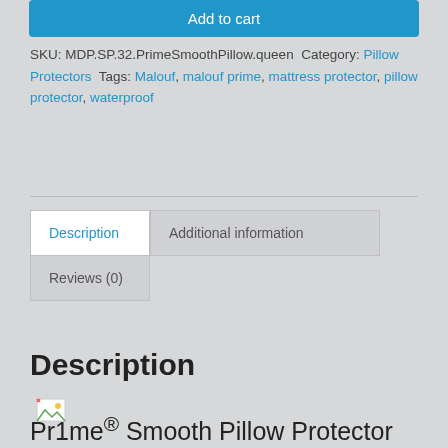Add to cart
SKU: MDP.SP.32.PrimeSmoothPillow.queen Category: Pillow Protectors Tags: Malouf, malouf prime, mattress protector, pillow protector, waterproof
Description | Additional information | Reviews (0)
Description
[Figure (illustration): Broken image icon placeholder]
Pr1me® Smooth Pillow Protector